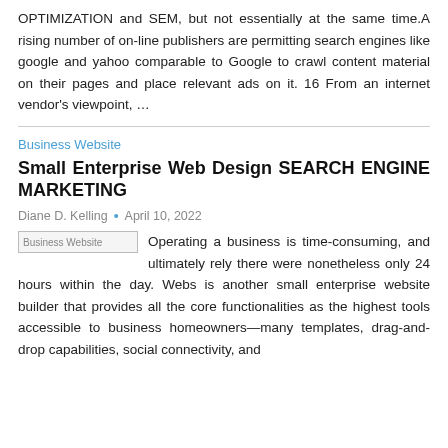OPTIMIZATION and SEM, but not essentially at the same time.A rising number of on-line publishers are permitting search engines like google and yahoo comparable to Google to crawl content material on their pages and place relevant ads on it. 16 From an internet vendor's viewpoint, …
Business Website
Small Enterprise Web Design SEARCH ENGINE MARKETING
Diane D. Kelling  •  April 10, 2022
[Figure (photo): Business Website image placeholder]
Operating a business is time-consuming, and ultimately rely there were nonetheless only 24 hours within the day. Webs is another small enterprise website builder that provides all the core functionalities as the highest tools accessible to business homeowners—many templates, drag-and-drop capabilities, social connectivity, and